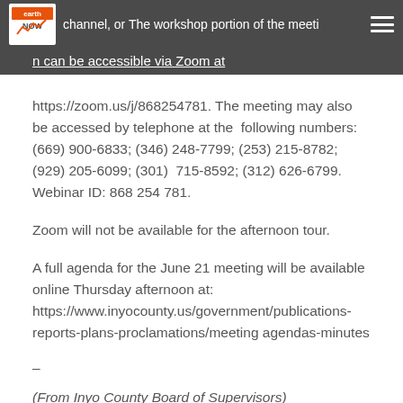EarthNOW — [header bar with logo and partial text]
will also be accessible via Zoom at https://zoom.us/j/868254781. The meeting may also be accessed by telephone at the following numbers: (669) 900-6833; (346) 248-7799; (253) 215-8782; (929) 205-6099; (301) 715-8592; (312) 626-6799. Webinar ID: 868 254 781.
Zoom will not be available for the afternoon tour.
A full agenda for the June 21 meeting will be available online Thursday afternoon at: https://www.inyocounty.us/government/publications-reports-plans-proclamations/meeting agendas-minutes
–
(From Inyo County Board of Supervisors)